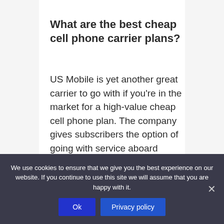What are the best cheap cell phone carrier plans?
US Mobile is yet another great carrier to go with if you're in the market for a high-value cheap cell phone plan. The company gives subscribers the option of going with service aboard either Verizon's or T-Mobile's network, both of which offer...
We use cookies to ensure that we give you the best experience on our website. If you continue to use this site we will assume that you are happy with it.